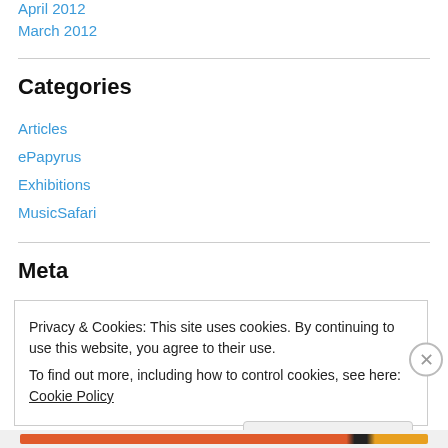April 2012
March 2012
Categories
Articles
ePapyrus
Exhibitions
MusicSafari
Meta
Privacy & Cookies: This site uses cookies. By continuing to use this website, you agree to their use.
To find out more, including how to control cookies, see here: Cookie Policy
Close and accept